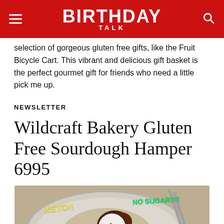BIRTHDAY TALK
selection of gorgeous gluten free gifts, like the Fruit Bicycle Cart. This vibrant and delicious gift basket is the perfect gourmet gift for friends who need a little pick me up.
NEWSLETTER
Wildcraft Bakery Gluten Free Sourdough Hamper 6995
[Figure (screenshot): Video thumbnail showing a bowl of food with the text 'KETO!!', 'NO SUGAR!!!!', 'Apple Butter', 'Not just for breakfast' overlaid, with a play button in the center.]